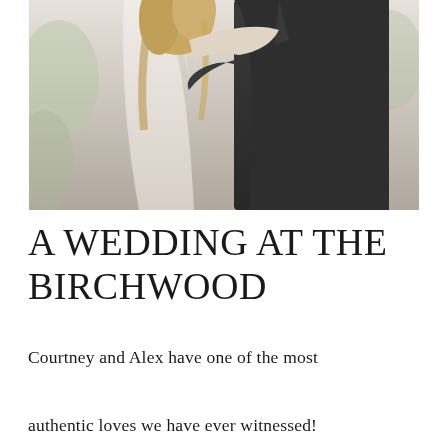[Figure (photo): Wedding photo of a bride and groom embracing from behind. The bride is in a white lace backless gown with curly blonde hair. The groom is wearing a dark charcoal suit. Green foliage is visible in the background.]
A WEDDING AT THE BIRCHWOOD
Courtney and Alex have one of the most authentic loves we have ever witnessed! Their wedding was all about love,